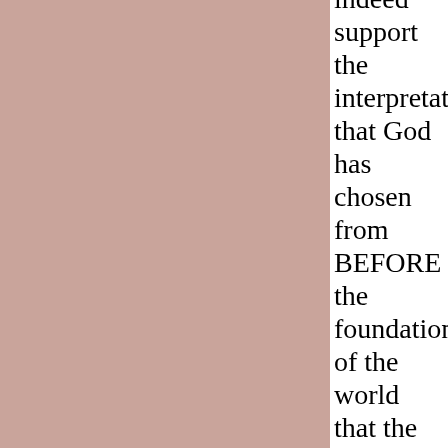[Figure (other): Large mauve/dusty rose colored rectangle occupying the left portion of the page]
indeed support the interpretation that God has chosen from BEFORE the foundation of the world that the salvation of mankind to be IN HIM